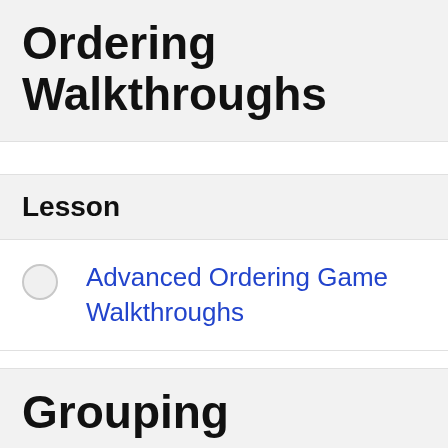Ordering Walkthroughs
Lesson
Advanced Ordering Game Walkthroughs
Grouping